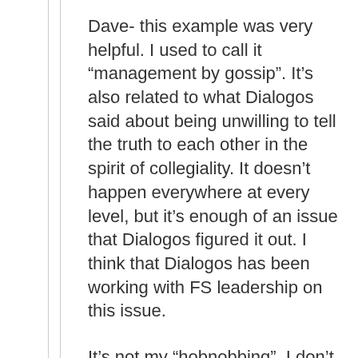Dave- this example was very helpful. I used to call it “management by gossip”. It’s also related to what Dialogos said about being unwilling to tell the truth to each other in the spirit of collegiality. It doesn’t happen everywhere at every level, but it’s enough of an issue that Dialogos figured it out. I think that Dialogos has been working with FS leadership on this issue.
It’s not my “hobnobbing”, I don’t think, it’s because the different points of view always come out